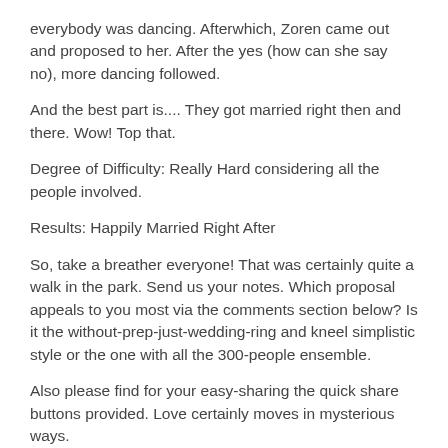everybody was dancing. Afterwhich, Zoren came out and proposed to her. After the yes (how can she say no), more dancing followed.
And the best part is.... They got married right then and there. Wow! Top that.
Degree of Difficulty: Really Hard considering all the people involved.
Results: Happily Married Right After
So, take a breather everyone! That was certainly quite a walk in the park. Send us your notes. Which proposal appeals to you most via the comments section below? Is it the without-prep-just-wedding-ring and kneel simplistic style or the one with all the 300-people ensemble.
Also please find for your easy-sharing the quick share buttons provided. Love certainly moves in mysterious ways.
I just wonder how many of these couples will last the test of time. Wanna bet?